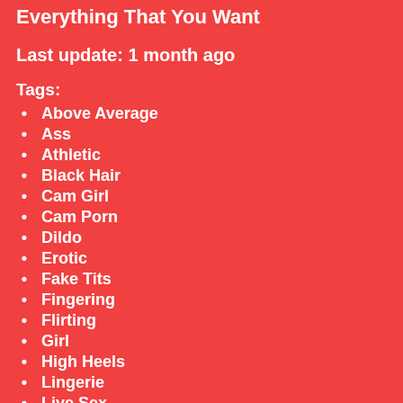Everything That You Want
Last update: 1 month ago
Tags:
Above Average
Ass
Athletic
Black Hair
Cam Girl
Cam Porn
Dildo
Erotic
Fake Tits
Fingering
Flirting
Girl
High Heels
Lingerie
Live Sex
Long Hair
Long Nails
Masturbation
Moaning
Normal Tits
Remote Toy